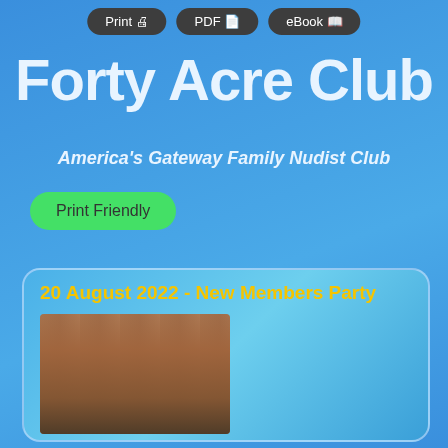Print 🖨  PDF 📄  eBook 📖
Forty Acre Club
America's Gateway Family Nudist Club
Print Friendly
20 August 2022 - New Members Party
[Figure (photo): Group photo of people at the New Members Party event at Forty Acre Club, August 20 2022]